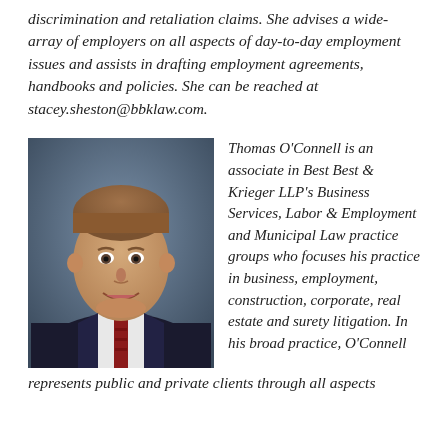discrimination and retaliation claims. She advises a wide-array of employers on all aspects of day-to-day employment issues and assists in drafting employment agreements, handbooks and policies. She can be reached at stacey.sheston@bbklaw.com.
[Figure (photo): Professional headshot of Thomas O'Connell, a young man in a dark suit with a red patterned tie, smiling against a dark blue background.]
Thomas O'Connell is an associate in Best Best & Krieger LLP's Business Services, Labor & Employment and Municipal Law practice groups who focuses his practice in business, employment, construction, corporate, real estate and surety litigation. In his broad practice, O'Connell represents public and private clients through all aspects